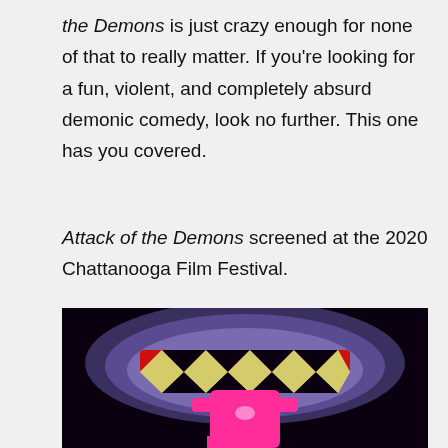the Demons is just crazy enough for none of that to really matter. If you're looking for a fun, violent, and completely absurd demonic comedy, look no further. This one has you covered.
Attack of the Demons screened at the 2020 Chattanooga Film Festival.
[Figure (illustration): Animated illustration of a demonic creature — a large open mouth with sharp jagged yellow and black teeth, red gums/lips, set against a dark purple layered oval shape on a black background. Below the teeth hangs a bright pink dripping monster body with small oval eyes.]